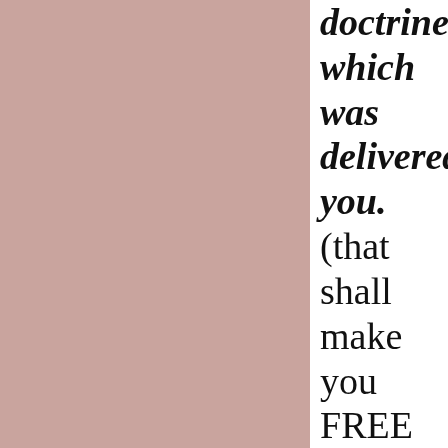doctrine which was delivered you. (that shall make you FREE if so be that you CONTINUE in the TRUTH. God has made it possible